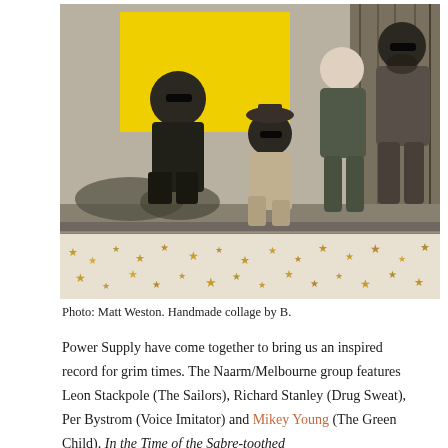[Figure (photo): Black and white photo of four people (a band) posing outside near a wooden structure. There is a vivid yellow collage element behind two of them on the left who are crouching. The bottom portion of the image has a decorative border with scattered gold/brown stars on a light background. The image appears to be a handmade collage.]
Photo: Matt Weston. Handmade collage by B.
Power Supply have come together to bring us an inspired record for grim times. The Naarm/Melbourne group features Leon Stackpole (The Sailors), Richard Stanley (Drug Sweat), Per Bystrom (Voice Imitator) and Mikey Young (The Green Child). In the Time of the Sabre-toothed